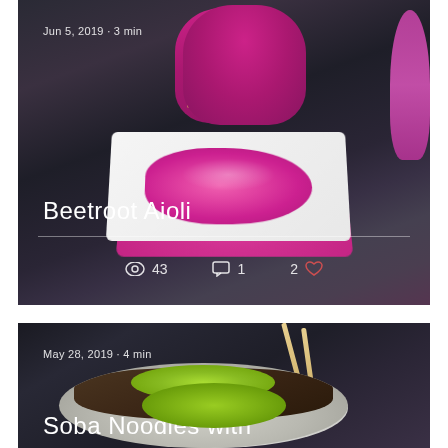[Figure (photo): Blog post card for Beetroot Aioli recipe. Dark background with photo of pink beetroot aioli on a white plate, a pink mason jar, and pink flower. Shows date Jun 5, 2019, 3 min read, title Beetroot Aioli, with stats: 43 views, 1 comment, 2 likes.]
[Figure (photo): Blog post card for Soba Noodles recipe. Dark background with photo of soba noodles in a bowl with chopsticks and green garnish. Shows date May 28, 2019, 4 min read, title Soba Noodles with (truncated).]